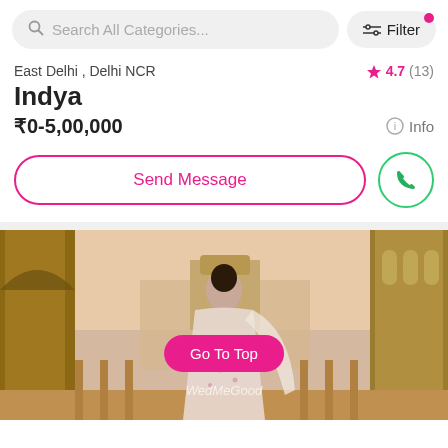Search All Categories...  Filter
East Delhi , Delhi NCR
4.7 (13)
Indya
₹0-5,00,000
Info
Send Message
[Figure (photo): A woman in a floral lehenga/anarkali standing in a heritage architectural setting with arches and columns. A pink 'Go To Top' button overlay and WedMeGood watermark are visible.]
Go To Top
WedMeGood